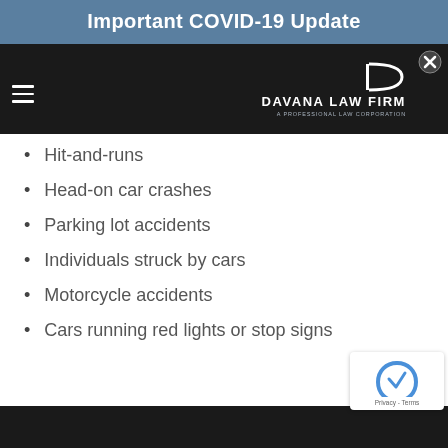Important COVID-19 Update
[Figure (logo): Davana Law Firm logo with hamburger menu and close button on dark background header]
Hit-and-runs
Head-on car crashes
Parking lot accidents
Individuals struck by cars
Motorcycle accidents
Cars running red lights or stop signs